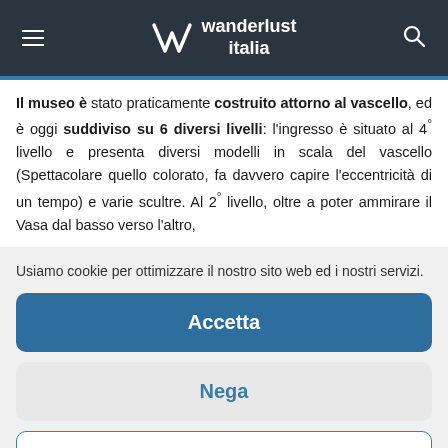wanderlust italia
Il museo è stato praticamente costruito attorno al vascello, ed è oggi suddiviso su 6 diversi livelli: l'ingresso è situato al 4° livello e presenta diversi modelli in scala del vascello (Spettacolare quello colorato, fa davvero capire l'eccentricità di un tempo) e varie scultre. Al 2° livello, oltre a poter ammirare il Vasa dal basso verso l'altro,
Usiamo cookie per ottimizzare il nostro sito web ed i nostri servizi.
Accetta
Nega
Preferenze